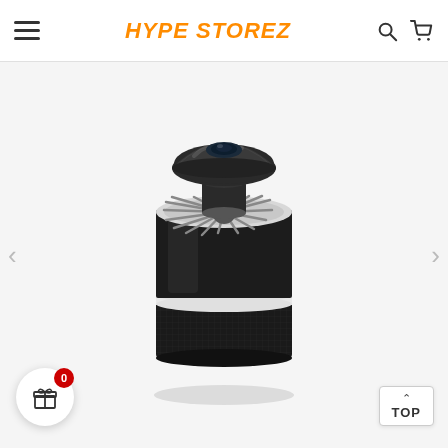HYPE STOREZ
[Figure (photo): A black cylindrical mosquito killer lamp / bug zapper device with a domed top and mesh ventilation, shown on a white background. The device has a glossy black upper cylinder with fan grilles, a white band separator, and a textured lower base section.]